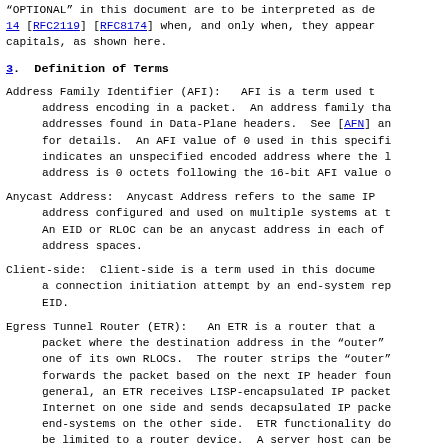"OPTIONAL" in this document are to be interpreted as de 14 [RFC2119] [RFC8174] when, and only when, they appear capitals, as shown here.
3.  Definition of Terms
Address Family Identifier (AFI):  AFI is a term used t address encoding in a packet.  An address family tha addresses found in Data-Plane headers.  See [AFN] an for details.  An AFI value of 0 used in this specifi indicates an unspecified encoded address where the l address is 0 octets following the 16-bit AFI value o
Anycast Address:  Anycast Address refers to the same IP address configured and used on multiple systems at t An EID or RLOC can be an anycast address in each of address spaces.
Client-side:  Client-side is a term used in this docume a connection initiation attempt by an end-system rep EID.
Egress Tunnel Router (ETR):  An ETR is a router that a packet where the destination address in the "outer" one of its own RLOCs.  The router strips the "outer" forwards the packet based on the next IP header foun general, an ETR receives LISP-encapsulated IP packet Internet on one side and sends decapsulated IP packe end-systems on the other side.  ETR functionality do be limited to a router device.  A server host can be